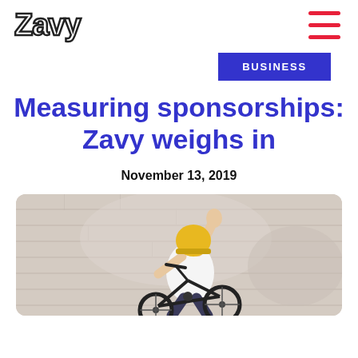Zavy
BUSINESS
Measuring sponsorships: Zavy weighs in
November 13, 2019
[Figure (photo): Person performing a BMX bike trick against a weathered brick wall, wearing a white t-shirt and yellow helmet, with one hand raised in the air.]